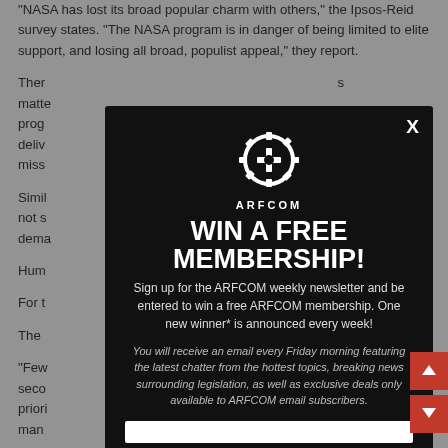"NASA has lost its broad popular charm with others," the Ipsos-Reid survey states. "The NASA program is in danger of being limited to elite support, and losing all broad, populist appeal," they report.
There [partially obscured by modal] matters... programs... delivers... miss...
Similarly [partially obscured by modal] are not s... dema...
Hum[partially obscured]
For t[partially obscured]
The [partially obscured]
"Few [partially obscured] or second [partially obscured] of priori[partially obscured] man[partially obscured] ng a
[Figure (screenshot): Modal popup overlay on top of article text. Dark background modal with ARFCOM gear logo, headline 'WIN A FREE MEMBERSHIP!', subtext about signing up for newsletter to win, body text about Friday morning email featuring latest news and deals, and an email input field at the bottom. Close X button in top right. Red scroll navigation arrows visible on the right edge.]